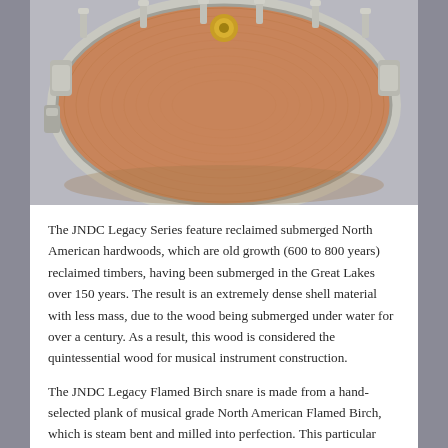[Figure (photo): A wooden snare drum (JNDC Legacy Flamed Birch) photographed from above at a slight angle, showing a warm brown wood-grain shell with silver metal hardware, tension rods, and a gold badge/logo on top.]
The JNDC Legacy Series feature reclaimed submerged North American hardwoods, which are old growth (600 to 800 years) reclaimed timbers, having been submerged in the Great Lakes over 150 years. The result is an extremely dense shell material with less mass, due to the wood being submerged under water for over a century. As a result, this wood is considered the quintessential wood for musical instrument construction.
The JNDC Legacy Flamed Birch snare is made from a hand-selected plank of musical grade North American Flamed Birch, which is steam bent and milled into perfection. This particular